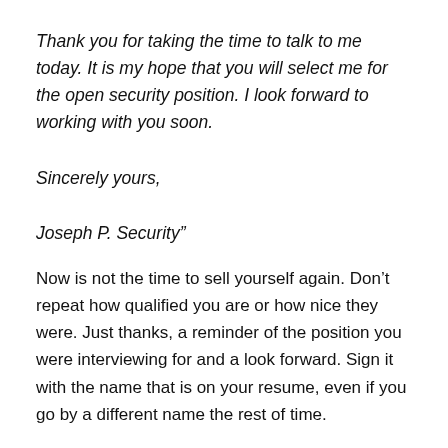Thank you for taking the time to talk to me today. It is my hope that you will select me for the open security position. I look forward to working with you soon.
Sincerely yours,
Joseph P. Security"
Now is not the time to sell yourself again. Don’t repeat how qualified you are or how nice they were. Just thanks, a reminder of the position you were interviewing for and a look forward. Sign it with the name that is on your resume, even if you go by a different name the rest of time.
Make sure your grammar and spelling are perfect. – Now is not the time to screw up a good resume and a great